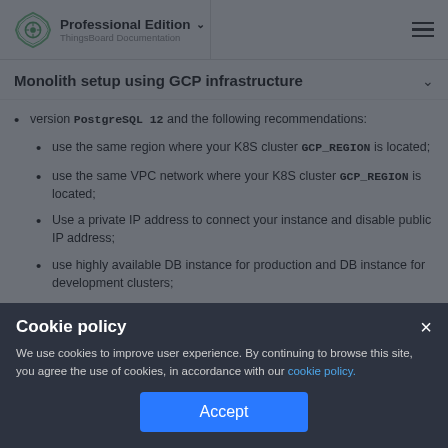Professional Edition — ThingsBoard Documentation
Monolith setup using GCP infrastructure
version PostgreSQL 12 and the following recommendations:
use the same region where your K8S cluster GCP_REGION is located;
use the same VPC network where your K8S cluster GCP_REGION is located;
Use a private IP address to connect your instance and disable public IP address;
use highly available DB instance for production and DB instance for development clusters;
Cookie policy
We use cookies to improve user experience. By continuing to browse this site, you agree the use of cookies, in accordance with our cookie policy.
[Accept button]